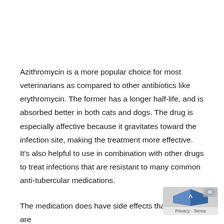Azithromycin is a more popular choice for most veterinarians as compared to other antibiotics like erythromycin. The former has a longer half-life, and is absorbed better in both cats and dogs. The drug is especially affective because it gravitates toward the infection site, making the treatment more effective. It's also helpful to use in combination with other drugs to treat infections that are resistant to many common anti-tubercular medications.
The medication does have side effects that are